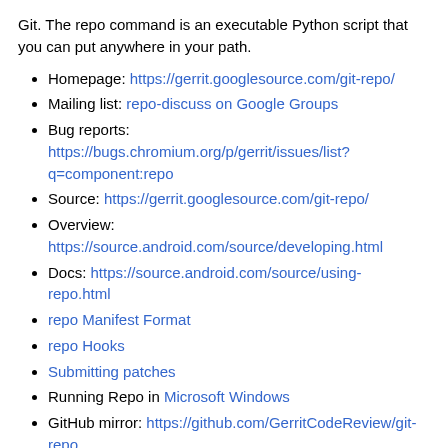Git. The repo command is an executable Python script that you can put anywhere in your path.
Homepage: https://gerrit.googlesource.com/git-repo/
Mailing list: repo-discuss on Google Groups
Bug reports: https://bugs.chromium.org/p/gerrit/issues/list?q=component:repo
Source: https://gerrit.googlesource.com/git-repo/
Overview: https://source.android.com/source/developing.html
Docs: https://source.android.com/source/using-repo.html
repo Manifest Format
repo Hooks
Submitting patches
Running Repo in Microsoft Windows
GitHub mirror: https://github.com/GerritCodeReview/git-repo
Postsubmit tests: https://github.com/GerritCodeReview/git-repo/actions